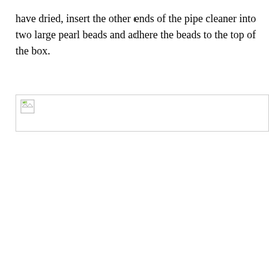have dried, insert the other ends of the pipe cleaner into two large pearl beads and adhere the beads to the top of the box.
[Figure (photo): A broken/missing image placeholder shown as a small icon with a torn image symbol in the top-left corner, with a light gray border framing the image area.]